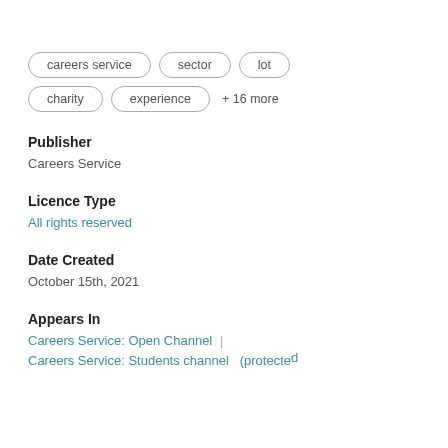careers service
sector
lot
charity
experience
+ 16 more
Publisher
Careers Service
Licence Type
All rights reserved
Date Created
October 15th, 2021
Appears In
Careers Service: Open Channel |
Careers Service: Students channel   (protected